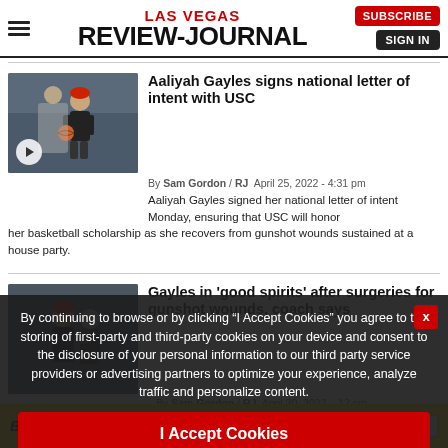Las Vegas Review-Journal
Aaliyah Gayles signs national letter of intent with USC
By Sam Gordon / RJ  April 25, 2022 - 4:31 pm
Aaliyah Gayles signed her national letter of intent Monday, ensuring that USC will honor her basketball scholarship as she recovers from gunshot wounds sustained at a house party.
Gayles in 'good spirits' after surgeries for gunshot wounds, coach says
By Sam Gordon / RJ  April 30, 2022 - 12 pm
By continuing to browse or by clicking "I Accept Cookies" you agree to the storing of first-party and third-party cookies on your device and consent to the disclosure of your personal information to our third party service providers or advertising partners to optimize your experience, analyze traffic and personalize content.
A ...conscious.
I Accept Cookies